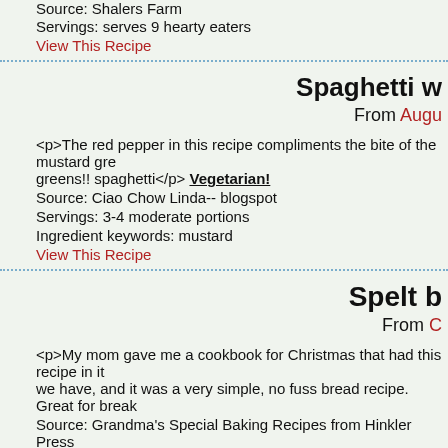Source: Shalers Farm
Servings: serves 9 hearty eaters
View This Recipe
Spaghetti w
From Augu
<p>The red pepper in this recipe compliments the bite of the mustard gre greens!! spaghetti</p> Vegetarian!
Source: Ciao Chow Linda-- blogspot
Servings: 3-4 moderate portions
Ingredient keywords: mustard
View This Recipe
Spelt b
From C
<p>My mom gave me a cookbook for Christmas that had this recipe in it we have, and it was a very simple, no fuss bread recipe. Great for break
Source: Grandma's Special Baking Recipes from Hinkler Press
Servings: Makes 1 loaf